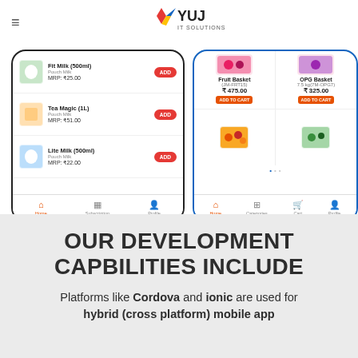[Figure (screenshot): YUJ IT Solutions logo with hamburger menu icon in page header]
[Figure (screenshot): Two mobile app screenshots: left shows a milk product listing app with Fit Milk 500ml MRP ₹25.00, Tea Magic 1L MRP ₹51.00, Lite Milk 500ml MRP ₹22.00, each with ADD buttons and bottom nav (Home, Subscription, Profile); right shows a grocery basket app with Fruit Basket (JM-FRT15) ₹475.00, OPG Basket 7.5 kg (7M-OPG7) ₹325.00, both with ADD TO CART buttons, and fruit/vegetable images below, bottom nav (Home, Categories, Cart, Profile)]
OUR DEVELOPMENT CAPBILITIES INCLUDE
Platforms like Cordova and ionic are used for hybrid (cross platform) mobile app